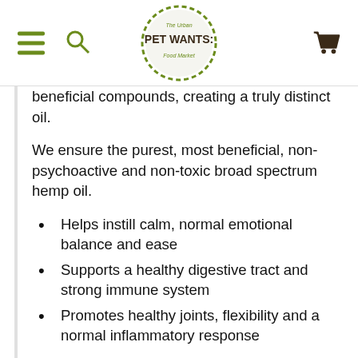Pet Wants logo with hamburger menu, search icon, and cart icon
beneficial compounds, creating a truly distinct oil.
We ensure the purest, most beneficial, non-psychoactive and non-toxic broad spectrum hemp oil.
Helps instill calm, normal emotional balance and ease
Supports a healthy digestive tract and strong immune system
Promotes healthy joints, flexibility and a normal inflammatory response
Treatibles can help animals exhibiting anxiety, discomfort, loss of appetite, digestive tract issues, and more